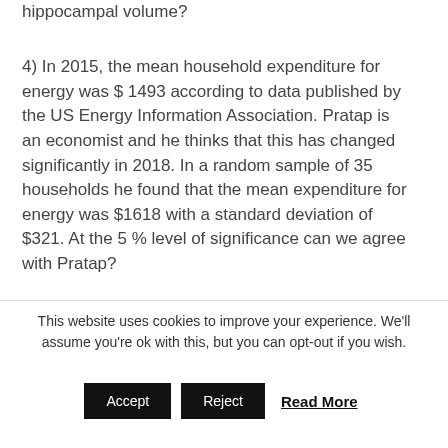hippocampal volume?
4) In 2015, the mean household expenditure for energy was $ 1493 according to data published by the US Energy Information Association. Pratap is an economist and he thinks that this has changed significantly in 2018. In a random sample of 35 households he found that the mean expenditure for energy was $1618 with a standard deviation of $321. At the 5 % level of significance can we agree with Pratap?
5) Acid rain from the burning of fossil
This website uses cookies to improve your experience. We'll assume you're ok with this, but you can opt-out if you wish.